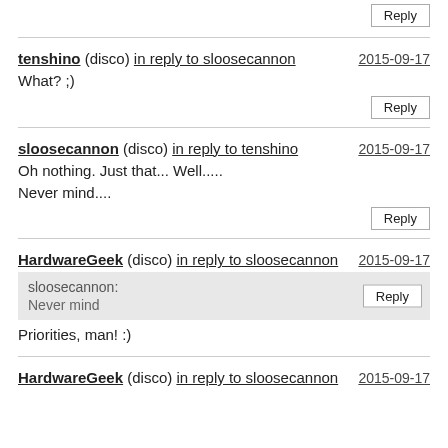Reply
tenshino (disco) in reply to sloosecannon 2015-09-17 What? ;)
Reply
sloosecannon (disco) in reply to tenshino 2015-09-17 Oh nothing. Just that... Well..... Never mind....
Reply
HardwareGeek (disco) in reply to sloosecannon 2015-09-17
sloosecannon: Never mind
Reply
Priorities, man! :)
HardwareGeek (disco) in reply to sloosecannon 2015-09-17